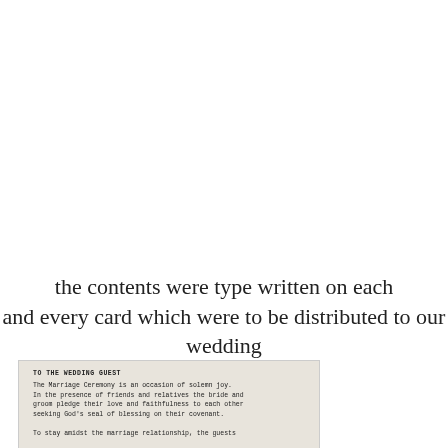the contents were type written on each and every card which were to be distributed to our wedding guests
[Figure (photo): A photograph of a typewritten card titled 'TO THE WEDDING GUEST' with text about the Marriage Ceremony being an occasion of solemn joy, mentioning friends, relatives, bride and groom pledging love and faithfulness, seeking God's seal of blessing on their covenant, and a partial line about the marriage relationship and guests.]